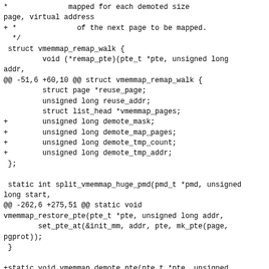Code diff showing vmemmap_remap_walk struct additions and vmemmap_demote_pte function introduction in a Linux kernel patch